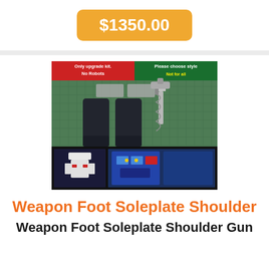$1350.00
[Figure (photo): Product photo showing weapon upgrade kit parts: two black foot sole plates and a silver shoulder gun accessory for a Transformers robot figure. Bottom strip shows the parts attached to a blue robot. Top banners read 'Only upgrade kit. No Robots' and 'Please choose style / Not for all'.]
Weapon Foot Soleplate Shoulder
Weapon Foot Soleplate Shoulder Gun